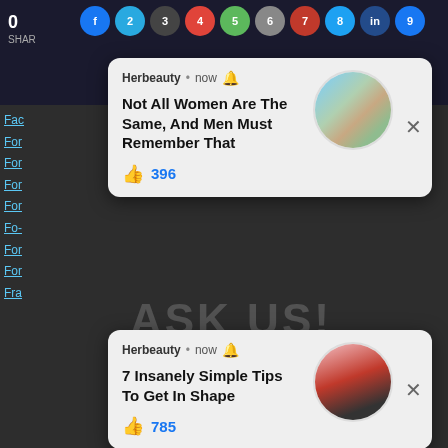[Figure (screenshot): Dark background webpage with colored social share circles at top and underlined navigation links on left side]
[Figure (screenshot): Herbeauty notification card 1: 'Not All Women Are The Same, And Men Must Remember That' with 396 likes and circular photo of woman outdoors]
[Figure (screenshot): Herbeauty notification card 2: '7 Insanely Simple Tips To Get In Shape' with 785 likes and circular photo of woman in gym]
TAP HERE TO ASK:
Gcd-hcf
Geometric-constructions
No Thanks!
Gradients-of-curved-lines
Graphical Methods
Heros-formula
Indices-logarithms
Integers